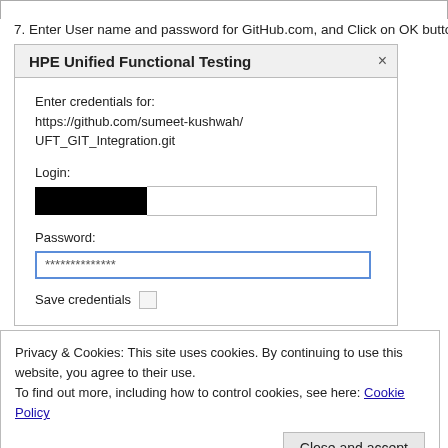7. Enter User name and password for GitHub.com, and Click on OK button.
[Figure (screenshot): HPE Unified Functional Testing dialog box showing credential entry fields. Dialog title: 'HPE Unified Functional Testing'. Body shows 'Enter credentials for: https://github.com/sumeet-kushwah/UFT_GIT_Integration.git'. Login field with a black-redacted portion and empty text box. Password field with asterisks '**************'. Save credentials checkbox (unchecked).]
Privacy & Cookies: This site uses cookies. By continuing to use this website, you agree to their use.
To find out more, including how to control cookies, see here: Cookie Policy
Close and accept